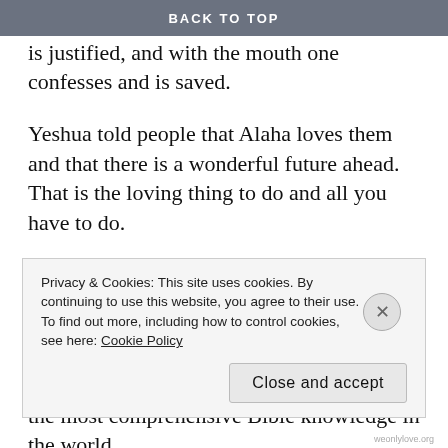BACK TO TOP
saved. ¹⁰ For with the heart one believes and is justified, and with the mouth one confesses and is saved.
Yeshua told people that Alaha loves them and that there is a wonderful future ahead. That is the loving thing to do and all you have to do.
Fill your heart with love and have an answer ready when people demand a reason for the hope in you.
Tell them to visit https://weonlylove.org for the most comprehensive Bible knowledge in the world.
Privacy & Cookies: This site uses cookies. By continuing to use this website, you agree to their use.
To find out more, including how to control cookies, see here: Cookie Policy
Close and accept